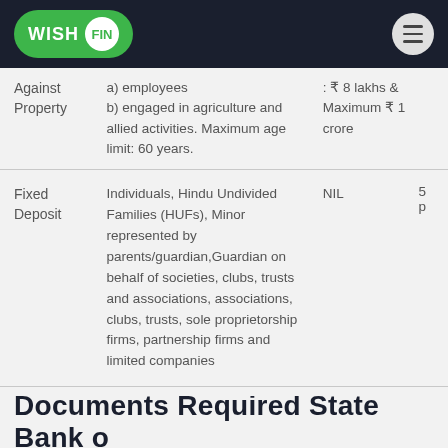WISHFIN
| Loan Type | Eligibility | Amount |  |
| --- | --- | --- | --- |
| Against Property | a) employees
b) engaged in agriculture and allied activities. Maximum age limit: 60 years. | : ₹ 8 lakhs & Maximum ₹ 1 crore |  |
| Fixed Deposit | Individuals, Hindu Undivided Families (HUFs), Minor represented by parents/guardian, Guardian on behalf of societies, clubs, trusts and associations, associations, clubs, trusts, sole proprietorship firms, partnership firms and limited companies | NIL | 5 p |
Documents Required State Bank of